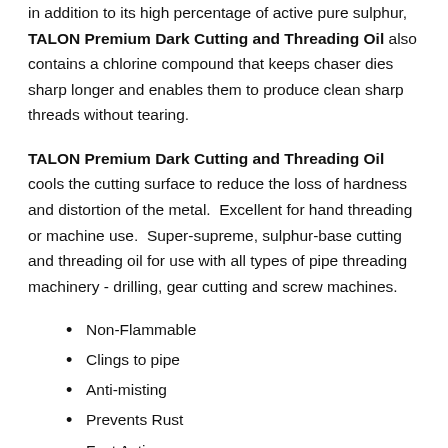in addition to its high percentage of active pure sulphur, TALON Premium Dark Cutting and Threading Oil also contains a chlorine compound that keeps chaser dies sharp longer and enables them to produce clean sharp threads without tearing.
TALON Premium Dark Cutting and Threading Oil cools the cutting surface to reduce the loss of hardness and distortion of the metal.  Excellent for hand threading or machine use.  Super-supreme, sulphur-base cutting and threading oil for use with all types of pipe threading machinery - drilling, gear cutting and screw machines.
Non-Flammable
Clings to pipe
Anti-misting
Prevents Rust
Fast Acting
High Sulphur Content